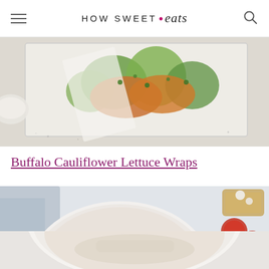HOW SWEET eats
[Figure (photo): Overhead view of Buffalo Cauliflower Lettuce Wraps in a tray with butter lettuce leaves, spicy cauliflower filling, green onions, and a small bowl of dipping sauce on a white marble surface]
Buffalo Cauliflower Lettuce Wraps
[Figure (photo): Overhead view of a white bowl with soup or stew, with cherry tomatoes and bread visible on a light background]
[Figure (photo): Close-up of a white bowl with food, partially cropped at bottom of page]